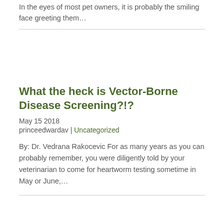In the eyes of most pet owners, it is probably the smiling face greeting them…
What the heck is Vector-Borne Disease Screening?!?
May 15 2018
princeedwardav | Uncategorized
By: Dr. Vedrana Rakocevic For as many years as you can probably remember, you were diligently told by your veterinarian to come for heartworm testing sometime in May or June,…
[Figure (illustration): Accessibility icon with wheelchair symbol and double left-arrow chevron symbol, round gray pill-shaped button]
Easier Said Than Done –a Veterinarian's First Dog